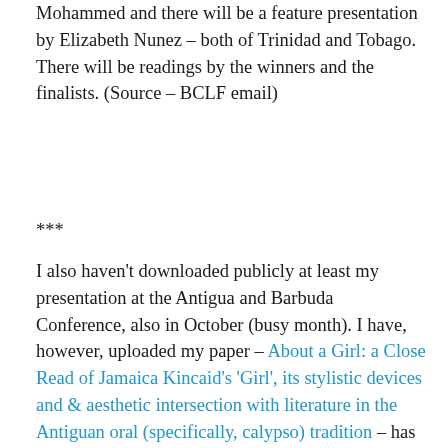Mohammed and there will be a feature presentation by Elizabeth Nunez – both of Trinidad and Tobago. There will be readings by the winners and the finalists. (Source – BCLF email)
***
I also haven't downloaded publicly at least my presentation at the Antigua and Barbuda Conference, also in October (busy month). I have, however, uploaded my paper – About a Girl: a Close Read of Jamaica Kincaid's 'Girl', its stylistic devices and & aesthetic intersection with literature in the Antiguan oral (specifically, calypso) tradition – has now been uploaded to my Jhohadli blog, if you're interested in reading it. I will be revisiting Jamaica, the person, not the country, when I speak at the Langston Hughes Festival, at which Jamaica Kincaid is being honoured and I have been invited to speak. It' an